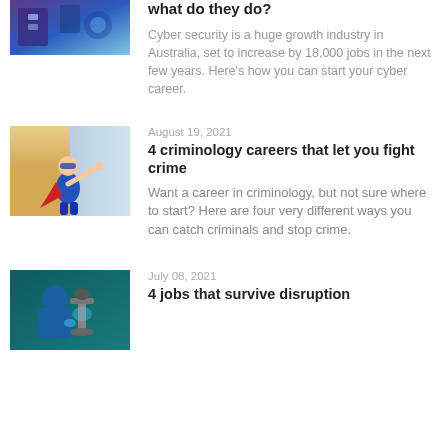[Figure (photo): Partial image of a cyber security themed photo (purple/blue tones) cropped at the top of the page]
what do they do?
Cyber security is a huge growth industry in Australia, set to increase by 18,000 jobs in the next few years. Here’s how you can start your cyber career.
August 19, 2021
[Figure (photo): A child dressed as a superhero in a red cape and blue mask, arm outstretched, against a light blue background]
4 criminology careers that let you fight crime
Want a career in criminology, but not sure where to start? Here are four very different ways you can catch criminals and stop crime.
July 08, 2021
[Figure (photo): A scientist or lab worker in blue protective gear looking into a microscope, in a laboratory setting]
4 jobs that survive disruption